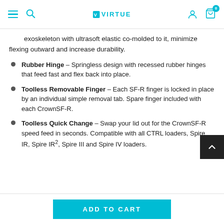Virtue logo, navigation menu, search, user icon, cart (0)
exoskeleton with ultrasoft elastic co-molded to it, minimize flexing outward and increase durability.
Rubber Hinge - Springless design with recessed rubber hinges that feed fast and flex back into place.
Toolless Removable Finger - Each SF-R finger is locked in place by an individual simple removal tab. Spare finger included with each CrownSF-R.
Toolless Quick Change - Swap your lid out for the CrownSF-R speed feed in seconds. Compatible with all CTRL loaders, Spire IR, Spire IR², Spire III and Spire IV loaders.
ADD TO CART